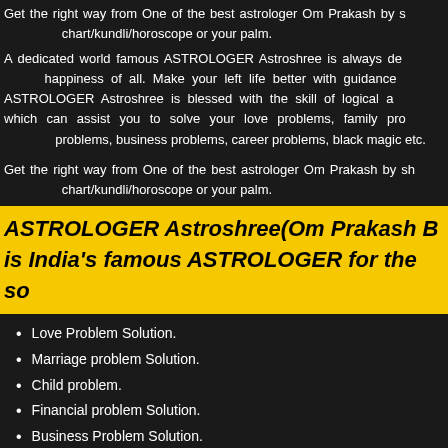Get the right way from One of the best astrologer Om Prakash by sharing your birth chart/kundli/horoscope or your palm.
A dedicated world famous ASTROLOGER Astroshree is always dedicated for the happiness of all. Make your left life better with guidance of ASTROLOGER Astroshree is blessed with the skill of logical analysis which can assist you to solve your love problems, family problems, financial problems, business problems, career problems, black magic etc.
Get the right way from One of the best astrologer Om Prakash by sharing your birth chart/kundli/horoscope or your palm.
ASTROLOGER Astroshree(Om Prakash B is India's famous ASTROLOGER for the so
Love Problem Solution.
Marriage problem Solution.
Child problem.
Financial problem Solution.
Business Problem Solution.